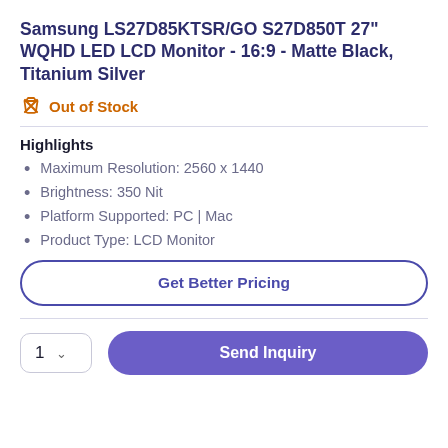Samsung LS27D85KTSR/GO S27D850T 27" WQHD LED LCD Monitor - 16:9 - Matte Black, Titanium Silver
Out of Stock
Highlights
Maximum Resolution: 2560 x 1440
Brightness: 350 Nit
Platform Supported: PC | Mac
Product Type: LCD Monitor
Get Better Pricing
1
Send Inquiry